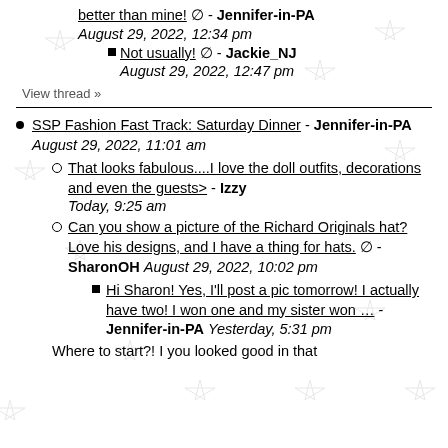better than mine! ⊘ - Jennifer-in-PA August 29, 2022, 12:34 pm
Not usually! ⊘ - Jackie_NJ August 29, 2022, 12:47 pm
View thread »
SSP Fashion Fast Track: Saturday Dinner - Jennifer-in-PA August 29, 2022, 11:01 am
That looks fabulous....I love the doll outfits, decorations and even the guests> - Izzy Today, 9:25 am
Can you show a picture of the Richard Originals hat? Love his designs, and I have a thing for hats. ⊘ - SharonOH August 29, 2022, 10:02 pm
Hi Sharon! Yes, I'll post a pic tomorrow! I actually have two! I won one and my sister won … - Jennifer-in-PA Yesterday, 5:31 pm
Where to start?! I you looked good in that